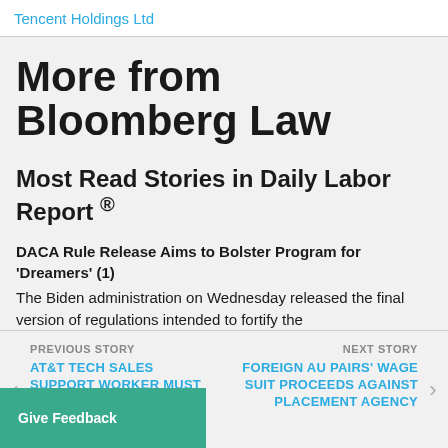Tencent Holdings Ltd
More from Bloomberg Law
Most Read Stories in Daily Labor Report ®
DACA Rule Release Aims to Bolster Program for 'Dreamers' (1)
The Biden administration on Wednesday released the final version of regulations intended to fortify the
PREVIOUS STORY | AT&T TECH SALES SUPPORT WORKER MUST ARBITRATE CLAIMS | NEXT STORY | FOREIGN AU PAIRS' WAGE SUIT PROCEEDS AGAINST PLACEMENT AGENCY